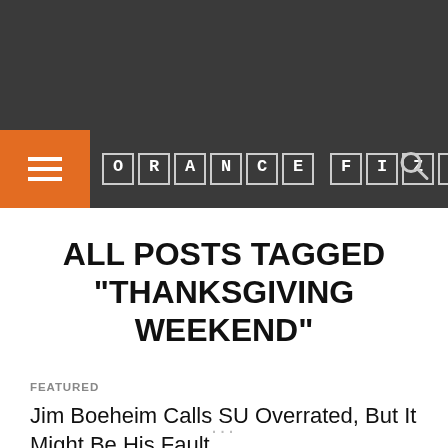ORANGE FIZZ
ALL POSTS TAGGED "THANKSGIVING WEEKEND"
FEATURED
Jim Boeheim Calls SU Overrated, But It Might Be His Fault